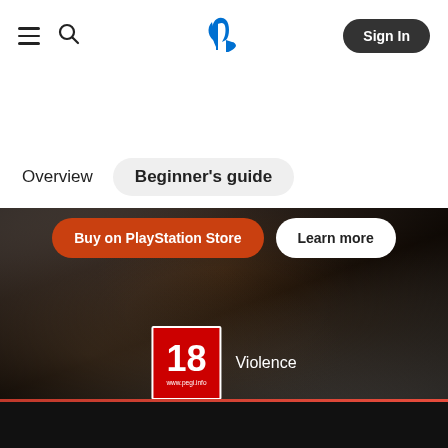PlayStation navigation header with hamburger menu, search icon, PlayStation logo, and Sign In button
Overview
Beginner's guide
[Figure (screenshot): Dark gritty game hero image background with CTA buttons 'Buy on PlayStation Store' and 'Learn more', and a PEGI 18 Violence age rating badge]
Dark footer strip with red separator line